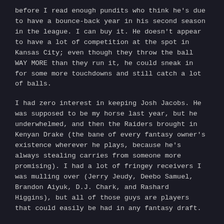before I read enough pundits who think he's due to have a bounce-back year in his second season in the league. I can buy it. He doesn't appear to have a lot of competition at the spot in Kansas City; even though they throw the ball WAY MORE than they run it, he could sneak in for some more touchdowns and still catch a lot of balls.
I had zero interest in keeping Josh Jacobs. He was supposed to be my horse last year, but he underwhelmed, and then the Raiders brought in Kenyan Drake (the bane of every fantasy owner's existence wherever he plays, because he's always stealing carries from someone more promising). I had a lot of fringey receivers I was mulling over (Jerry Jeudy, Deebo Samuel, Brandon Aiyuk, D.J. Chark, and Rashard Higgins), but all of those guys are players that could easily be had in any fantasy draft.
As for my two quarterbacks, I had Kirk Cousins (who's a non-starter for me, since he's not vaccinated – which means there's a high likelihood he misses games this year – and he's just overall mediocre), and Tua Tagovailoa. I